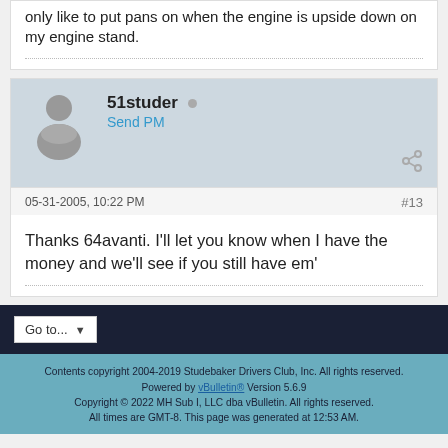only like to put pans on when the engine is upside down on my engine stand.
51studer
Send PM
05-31-2005, 10:22 PM
#13
Thanks 64avanti. I'll let you know when I have the money and we'll see if you still have em'
Go to...
Contents copyright 2004-2019 Studebaker Drivers Club, Inc. All rights reserved. Powered by vBulletin® Version 5.6.9 Copyright © 2022 MH Sub I, LLC dba vBulletin. All rights reserved. All times are GMT-8. This page was generated at 12:53 AM.